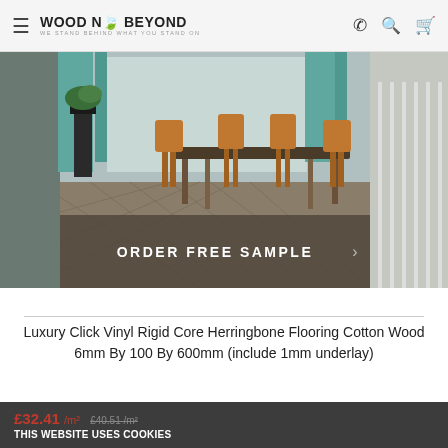WOOD N' BEYOND — WE STAND BEHIND WHAT YOU STAND ON
[Figure (photo): Interior room scene showing a dining area with wooden chairs and table on herringbone luxury vinyl flooring, teal curtains in background, with 'ORDER FREE SAMPLE' overlay text on a semi-transparent dark banner]
Luxury Click Vinyl Rigid Core Herringbone Flooring Cotton Wood 6mm By 100 By 600mm (include 1mm underlay)
£32.41 /m² £40.51 /m²
THIS WEBSITE USES COOKIES